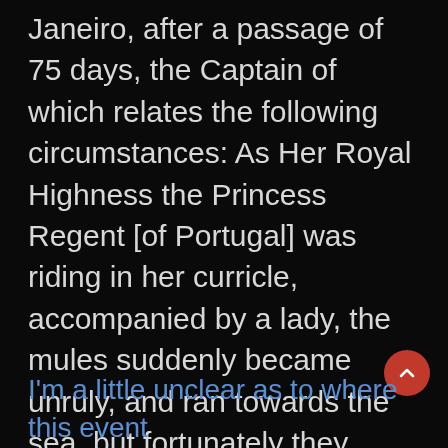Janeiro, after a passage of 75 days, the Captain of which relates the following circumstances: As Her Royal Highness the Princess Regent [of Portugal] was riding in her curricle, accompanied by a lady, the mules suddenly became unruly, and ran towards the sea, but fortunately they were met with and stopped by an English sailor, and Her Royal Highness and consort were preserved from injury. In consequence of the heroic conduct manifested by the British sailor, he has since been released from the service, and a pension given to him for life."
I'm a little unclear as to where this event